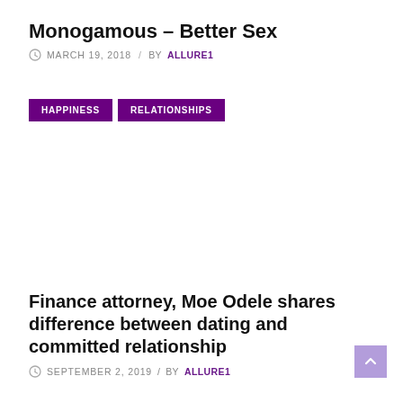Monogamous – Better Sex
MARCH 19, 2018 / BY ALLURE1
HAPPINESS
RELATIONSHIPS
Finance attorney, Moe Odele shares difference between dating and committed relationship
SEPTEMBER 2, 2019 / BY ALLURE1